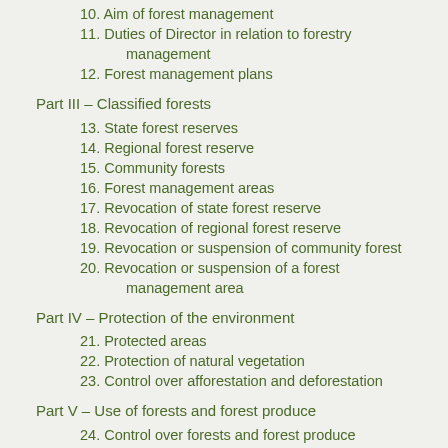10. Aim of forest management
11. Duties of Director in relation to forestry management
12. Forest management plans
Part III – Classified forests
13. State forest reserves
14. Regional forest reserve
15. Community forests
16. Forest management areas
17. Revocation of state forest reserve
18. Revocation of regional forest reserve
19. Revocation or suspension of community forest
20. Revocation or suspension of a forest management area
Part IV – Protection of the environment
21. Protected areas
22. Protection of natural vegetation
23. Control over afforestation and deforestation
Part V – Use of forests and forest produce
24. Control over forests and forest produce
25. Honey producing organisms
26. Allowable harvest